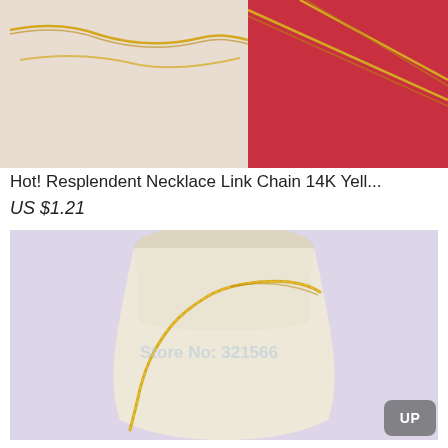[Figure (photo): Close-up photo of a gold necklace link chain, split into two panels — left panel shows the chain on a light surface, right panel shows the chain against a red background.]
Hot! Resplendent Necklace Link Chain 14K Yell...
US $1.21
[Figure (photo): A gold snake/herringbone link chain necklace displayed on a white fabric jewelry mannequin bust, with a semi-transparent watermark reading 'Store No: 321566' in the center of the image.]